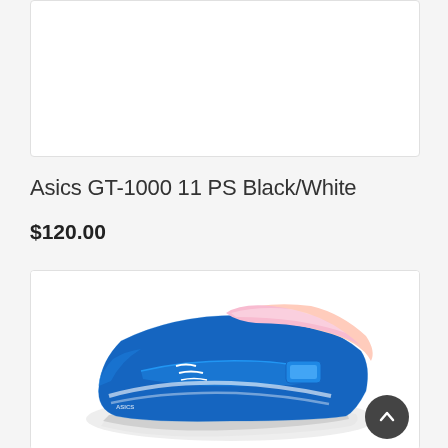[Figure (photo): White product image box (top portion of a shoe product page, image area mostly white/blank)]
Asics GT-1000 11 PS Black/White
$120.00
[Figure (photo): Photo of a blue and pink Asics GT-1000 11 PS children's sneaker with velcro strap, shown at an angle from the front-side on a white background]